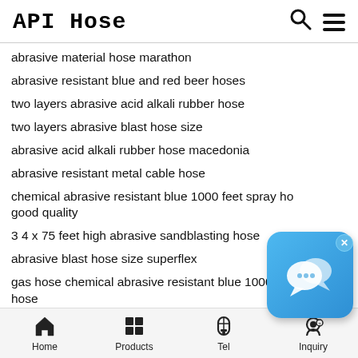API Hose
abrasive material hose marathon
abrasive resistant blue and red beer hoses
two layers abrasive acid alkali rubber hose
two layers abrasive blast hose size
abrasive acid alkali rubber hose macedonia
abrasive resistant metal cable hose
chemical abrasive resistant blue 1000 feet spray hose good quality
3 4 x 75 feet high abrasive sandblasting hose
abrasive blast hose size superflex
gas hose chemical abrasive resistant blue 1000 feet spray hose
auto parts abrasive blast hose size
abrasive acid alkali rubber hose in mysore
wear resistant high abrasive sandblasting hose
high abrasive sandblasting hose in patrol
[Figure (screenshot): Blue chat/messaging app icon with speech bubble, with a close (x) button in the top-right corner]
Home  Products  Tel  Inquiry